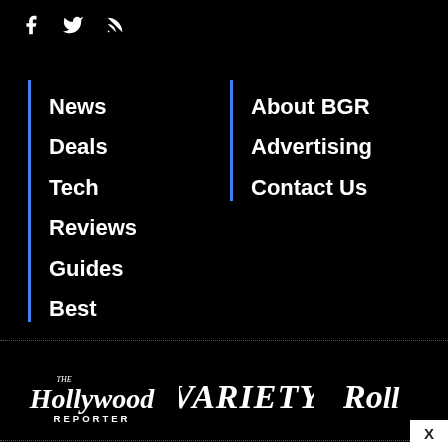[Figure (other): Social media icons: Facebook, Twitter, RSS feed]
News
Deals
Tech
Reviews
Guides
Best
About BGR
Advertising
Contact Us
[Figure (logo): The Hollywood Reporter logo, Variety logo, Rolling Stone logo (partially visible)]